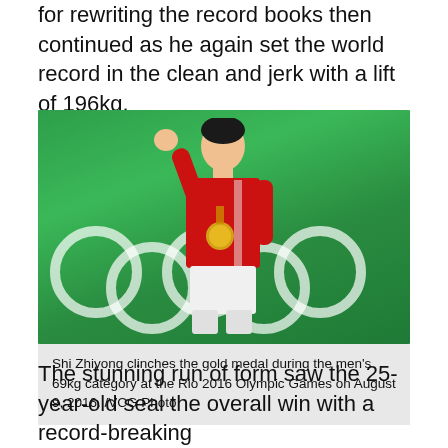for rewriting the record books then continued as he again set the world record in the clean and jerk with a lift of 196kg.
[Figure (photo): Shi Zhiyong raising his fist in celebration wearing a red Chinese team jacket and gold medal, standing in front of green background with white Olympic rings.]
Shi Zhiyong clinches the gold medal during the men's 69kg category at the Rio 2016 Olympic Games on August 9, 2016. /VCG Photo
The stunning run of form saw the 25-year-old seal the overall win with a record-breaking